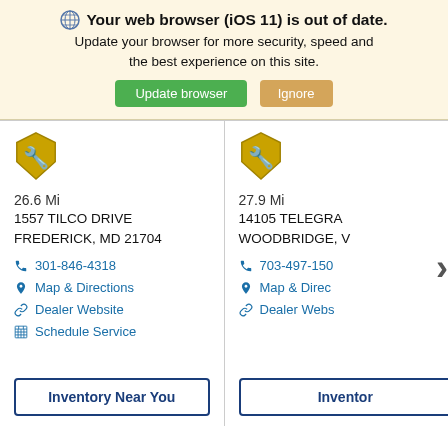Your web browser (iOS 11) is out of date. Update your browser for more security, speed and the best experience on this site.
Update browser | Ignore
26.6 Mi
1557 TILCO DRIVE
FREDERICK, MD 21704
301-846-4318
Map & Directions
Dealer Website
Schedule Service
Inventory Near You
27.9 Mi
14105 TELEGRA
WOODBRIDGE, V
703-497-150
Map & Direc
Dealer Webs
Inventor